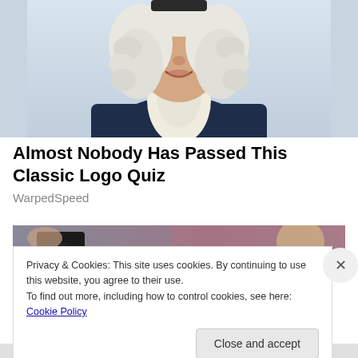[Figure (illustration): Illustration of a portly man in colonial-era clothing with white curly wig and dark navy coat with white cravat, cropped to show upper body and face, smiling.]
Almost Nobody Has Passed This Classic Logo Quiz
WarpedSpeed
[Figure (photo): Partial photo showing a person holding a dark object, blurred background with pink/maroon tones, and a blonde child visible on the right.]
Privacy & Cookies: This site uses cookies. By continuing to use this website, you agree to their use.
To find out more, including how to control cookies, see here: Cookie Policy
Close and accept